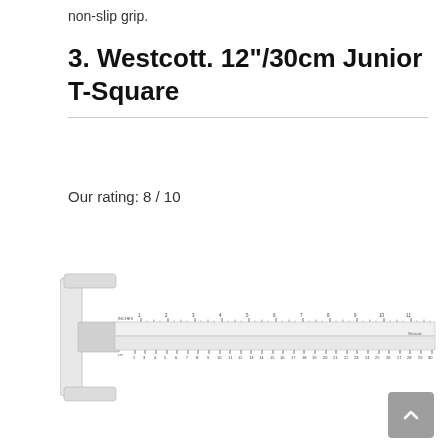non-slip grip.
3. Westcott. 12"/30cm Junior T-Square
Our rating: 8 / 10
[Figure (photo): Photo of a Westcott 12"/30cm Junior T-Square ruler with a white/clear plastic T-shaped head and a long measuring blade with inch and centimeter markings.]